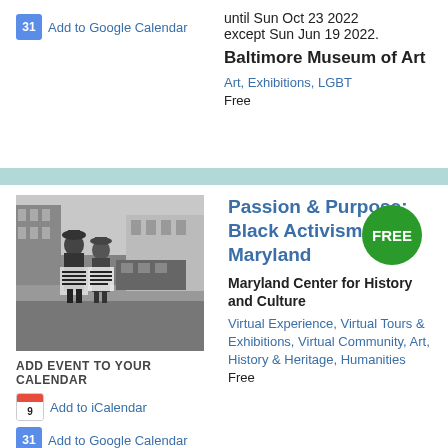until Sun Oct 23 2022 except Sun Jun 19 2022.
Add to Google Calendar
Baltimore Museum of Art
Art, Exhibitions, LGBT
Free
[Figure (photo): Black and white historical photo of two men holding protest signs on a city street, signs read 'Tords Discriminators Against American Citizens' and 'Show your bull...Sorcery Please...First Line']
ADD EVENT TO YOUR CALENDAR
Add to iCalendar
Add to Google Calendar
Passion & Purpose: Black Activism in Maryland
FREE
Maryland Center for History and Culture
Virtual Experience, Virtual Tours & Exhibitions, Virtual Community, Art, History & Heritage, Humanities
Free